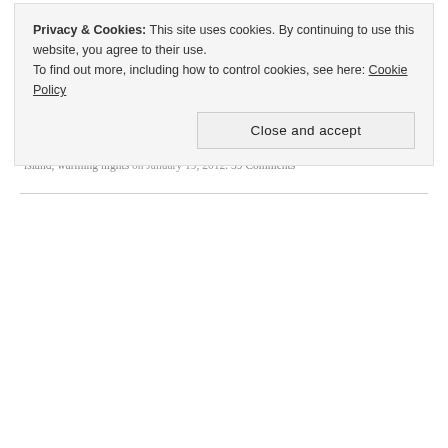Reference cited:
Gallo, Kevin P.; Easterling, David R.; and Peterson, Thomas C., “The Influence of Land Use/Land Cover on Climatological Values of the Diurnal Temperature Range” (1996). Papers in Natural Resources. Paper 191, Journal of Climate 9.
Posted in Climate change and tagged diurnal temperature range, DTR, urban heat island, warming nights on January 19, 2012. 39 Comments
Privacy & Cookies: This site uses cookies. By continuing to use this website, you agree to their use.
To find out more, including how to control cookies, see here: Cookie Policy
Close and accept